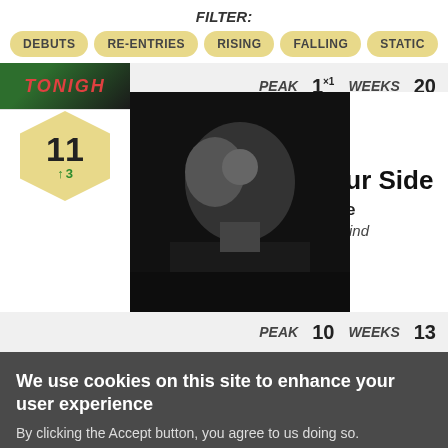FILTER:
DEBUTS
RE-ENTRIES
RISING
FALLING
STATIC
PEAK 1×1 WEEKS 20
By Your Side
Rod Wave
Beautiful Mind
PEAK 10 WEEKS 13
We use cookies on this site to enhance your user experience
By clicking the Accept button, you agree to us doing so.
More info
Accept   No, thanks